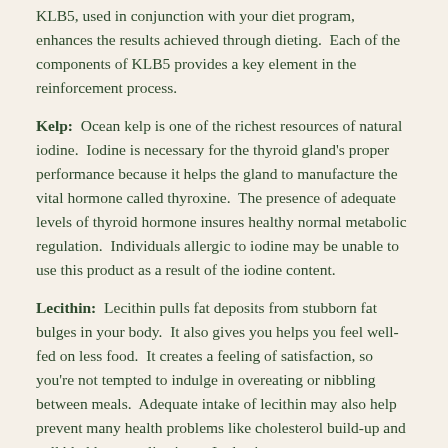KLB5, used in conjunction with your diet program, enhances the results achieved through dieting.  Each of the components of KLB5 provides a key element in the reinforcement process.
Kelp:  Ocean kelp is one of the richest resources of natural iodine.  Iodine is necessary for the thyroid gland's proper performance because it helps the gland to manufacture the vital hormone called thyroxine.  The presence of adequate levels of thyroid hormone insures healthy normal metabolic regulation.  Individuals allergic to iodine may be unable to use this product as a result of the iodine content.
Lecithin:  Lecithin pulls fat deposits from stubborn fat bulges in your body.  It also gives you helps you feel well-fed on less food.  It creates a feeling of satisfaction, so you're not tempted to indulge in overeating or nibbling between meals.  Adequate intake of lecithin may also help prevent many health problems like cholesterol build-up and gall bladder complications.  It also increases energy.